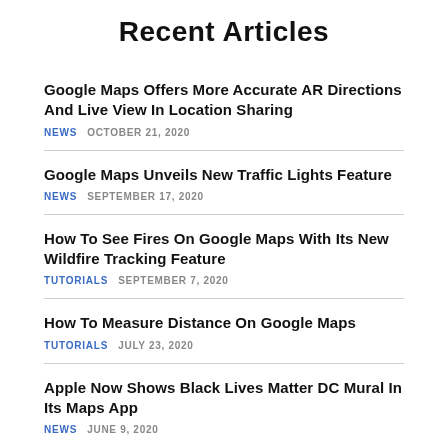Recent Articles
Google Maps Offers More Accurate AR Directions And Live View In Location Sharing
NEWS   OCTOBER 21, 2020
Google Maps Unveils New Traffic Lights Feature
NEWS   SEPTEMBER 17, 2020
How To See Fires On Google Maps With Its New Wildfire Tracking Feature
TUTORIALS   SEPTEMBER 7, 2020
How To Measure Distance On Google Maps
TUTORIALS   JULY 23, 2020
Apple Now Shows Black Lives Matter DC Mural In Its Maps App
NEWS   JUNE 9, 2020